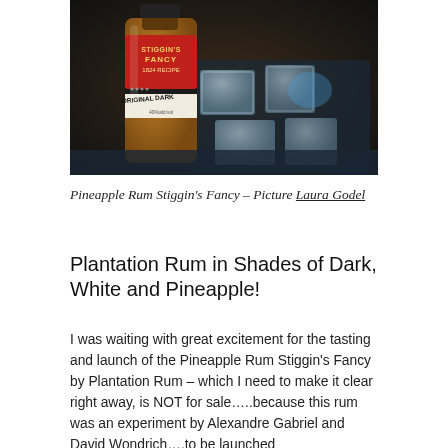[Figure (photo): A bottle of Plantation Rum Original Dark with a red label reading 'Stiggin's Fancy 1824 Recipe' resting in a tray of ice cubes, dark moody background.]
Pineapple Rum Stiggin's Fancy – Picture Laura Godel
Plantation Rum in Shades of Dark, White and Pineapple!
I was waiting with great excitement for the tasting and launch of the Pineapple Rum Stiggin's Fancy by Plantation Rum – which I need to make it clear right away, is NOT for sale…..because this rum was an experiment by Alexandre Gabriel and David Wondrich….to be launched